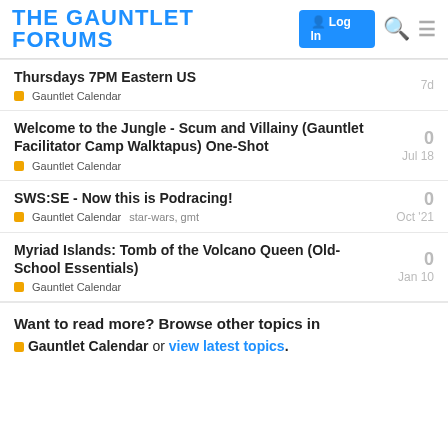THE GAUNTLET FORUMS
Thursdays 7PM Eastern US
Gauntlet Calendar | 7d
Welcome to the Jungle - Scum and Villainy (Gauntlet Facilitator Camp Walktapus) One-Shot
Gauntlet Calendar | Jul 18
SWS:SE - Now this is Podracing!
Gauntlet Calendar | star-wars, gmt | Oct '21
Myriad Islands: Tomb of the Volcano Queen (Old-School Essentials)
Gauntlet Calendar | Jan 10
Want to read more? Browse other topics in Gauntlet Calendar or view latest topics.